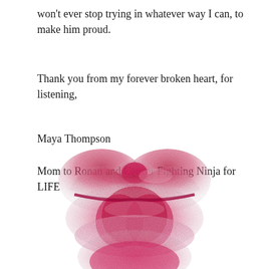won't ever stop trying in whatever way I can, to make him proud.
Thank you from my forever broken heart, for listening,
Maya Thompson
Mom to Ronan and Cancer Fighting Ninja for LIFE
[Figure (illustration): A pink lipstick kiss mark / lip print illustration, showing upper and lower lips in pink/red tones on white background, partially cropped at the bottom of the page.]